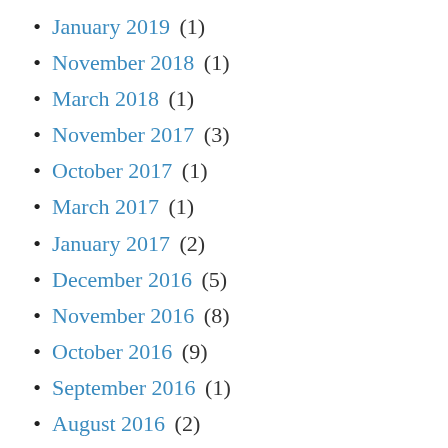January 2019 (1)
November 2018 (1)
March 2018 (1)
November 2017 (3)
October 2017 (1)
March 2017 (1)
January 2017 (2)
December 2016 (5)
November 2016 (8)
October 2016 (9)
September 2016 (1)
August 2016 (2)
June 2016 (2)
May 2016 (7)
April 2016 (6)
March 2016 (16)